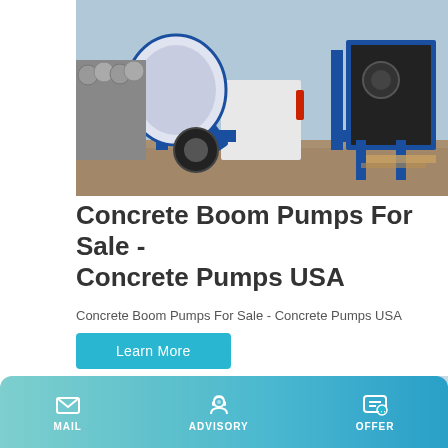[Figure (photo): Blue and white concrete boom pump / concrete mixer machine parked on gravel ground outdoors, industrial equipment]
Concrete Boom Pumps For Sale - Concrete Pumps USA
Concrete Boom Pumps For Sale - Concrete Pumps USA
Learn More
[Figure (photo): Yellow concrete pump machine parked outside a building]
MAIL  ADVISORY  OFFER